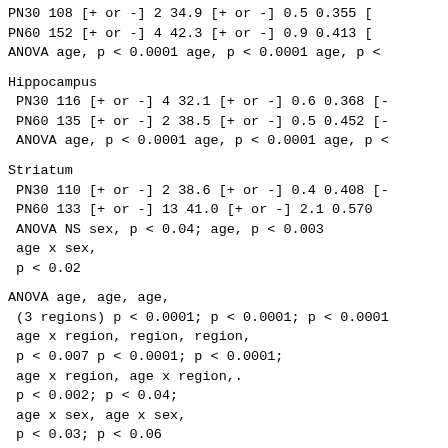PN30 108 [+ or -] 2 34.9 [+ or -] 0.5 0.355 [
PN60 152 [+ or -] 4 42.3 [+ or -] 0.9 0.413 [
ANOVA age, p < 0.0001 age, p < 0.0001 age, p <
Hippocampus
PN30 116 [+ or -] 4 32.1 [+ or -] 0.6 0.368 [-
PN60 135 [+ or -] 2 38.5 [+ or -] 0.5 0.452 [-
ANOVA age, p < 0.0001 age, p < 0.0001 age, p <
Striatum
PN30 110 [+ or -] 2 38.6 [+ or -] 0.4 0.408 [-
PN60 133 [+ or -] 13 41.0 [+ or -] 2.1 0.570
ANOVA NS sex, p < 0.04; age, p < 0.003
age x sex,
p < 0.02
ANOVA age, age, age,
(3 regions) p < 0.0001; p < 0.0001; p < 0.0001
age x region, region, region,
p < 0.007 p < 0.0001; p < 0.0001;
age x region, age x region,.
p < 0.002; p < 0.04;
age x sex, age x sex,
p < 0.03; p < 0.06
sex x region,
p < 0.03;